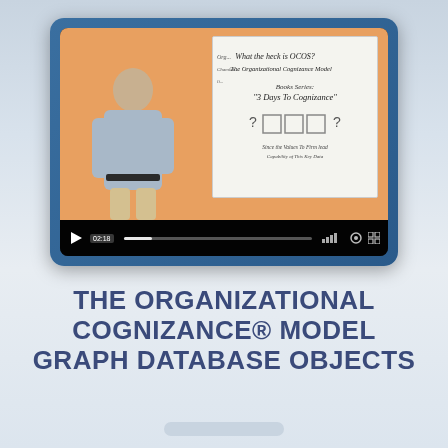[Figure (screenshot): Video player screenshot showing a man standing in front of a whiteboard. The whiteboard contains handwritten text including 'What the heck is OCOS?', 'The Organizational Cognizance Model', 'Books Series: 3 Days To Cognizance', and diagram boxes. Video controls show play button and timestamp 02:18.]
THE ORGANIZATIONAL COGNIZANCE® MODEL GRAPH DATABASE OBJECTS